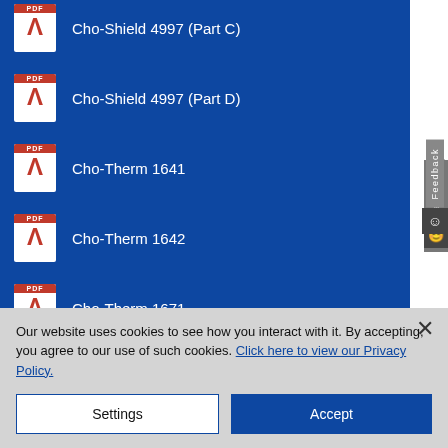Cho-Shield 4997 (Part C)
Cho-Shield 4997 (Part D)
Cho-Therm 1641
Cho-Therm 1642
Cho-Therm 1671
Ch-130 (Article Statement)
Our website uses cookies to see how you interact with it. By accepting, you agree to our use of such cookies. Click here to view our Privacy Policy.